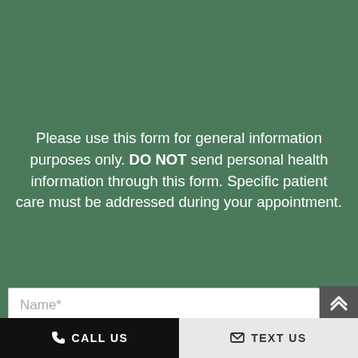[Figure (illustration): Green tiled background with repeating dental tooth icons in a pattern overlay]
Please use this form for general information purposes only. DO NOT send personal health information through this form. Specific patient care must be addressed during your appointment.
Name*
CALL US
TEXT US